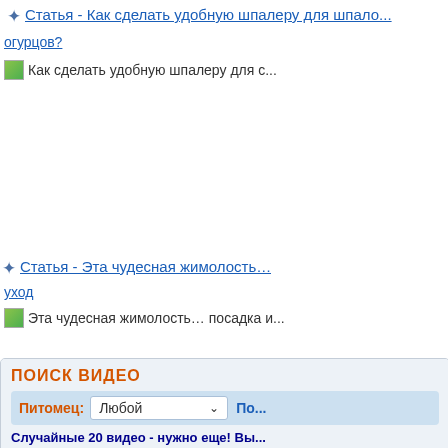Статья - Как сделать удобную шпалеру для огурцов?
Как сделать удобную шпалеру для с...
Статья - Эта чудесная жимолость… уход
Эта чудесная жимолость… посадка и...
ПОИСК ВИДЕО
Питомец: Любой
Случайные 20 видео - нужно еще! Вы...
[Figure (screenshot): Video search widget with dropdown 'Любой', search button, and video thumbnail showing green plant/cucumber]